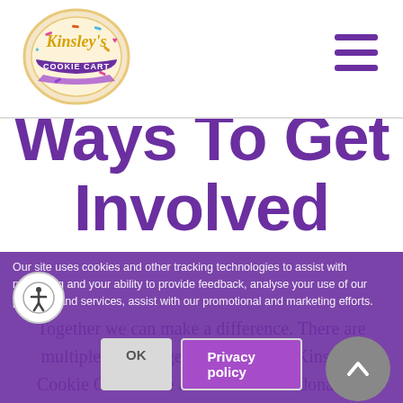[Figure (logo): Kinsley's Cookie Cart logo — circular cookie-themed logo with colorful sprinkles, gold and purple script text, purple ribbon banner]
[Figure (other): Hamburger menu icon — three purple horizontal bars stacked vertically]
Ways To Get Involved
Together we can make a difference. There are multiple ways to get involved with Kinsley's Cookie Cart. Make a tax-deductible donation, participate in an upcoming event, become a volunteer.
Our site uses cookies and other tracking technologies to assist with navigating and your ability to provide feedback, analyse your use of our products and services, assist with our promotional and marketing efforts.
OK   Privacy policy